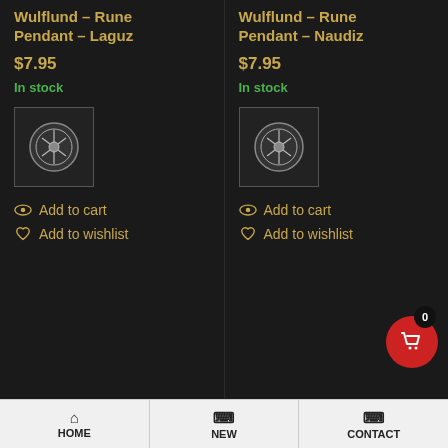Wulflund – Rune Pendant – Laguz
$7.95
In stock
[Figure (photo): Thumbnail image of a rune pendant - Laguz, circular metallic design]
Add to cart
Add to wishlist
Wulflund – Rune Pendant – Naudiz
$7.95
In stock
[Figure (photo): Thumbnail image of a rune pendant - Naudiz, circular metallic design]
Add to cart
Add to wishlist
HOME | NEW | CONTACT